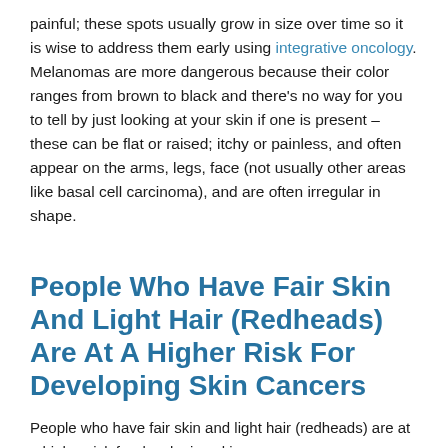painful; these spots usually grow in size over time so it is wise to address them early using integrative oncology. Melanomas are more dangerous because their color ranges from brown to black and there's no way for you to tell by just looking at your skin if one is present – these can be flat or raised; itchy or painless, and often appear on the arms, legs, face (not usually other areas like basal cell carcinoma), and are often irregular in shape.
People Who Have Fair Skin And Light Hair (Redheads) Are At A Higher Risk For Developing Skin Cancers
People who have fair skin and light hair (redheads) are at a higher risk for developing skin cancers